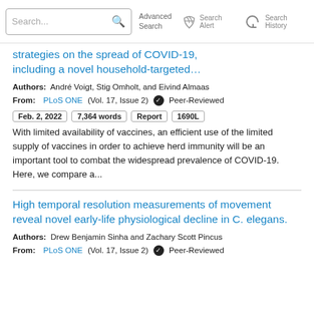Search... Advanced Search Search Alert Search History
strategies on the spread of COVID-19, including a novel household-targeted…
Authors: André Voigt, Stig Omholt, and Eivind Almaas
From: PLoS ONE (Vol. 17, Issue 2) ✓ Peer-Reviewed
Feb. 2, 2022   7,364 words   Report   1690L
With limited availability of vaccines, an efficient use of the limited supply of vaccines in order to achieve herd immunity will be an important tool to combat the widespread prevalence of COVID-19. Here, we compare a...
High temporal resolution measurements of movement reveal novel early-life physiological decline in C. elegans.
Authors: Drew Benjamin Sinha and Zachary Scott Pincus
From: PLoS ONE (Vol. 17, Issue 2) ✓ Peer-Reviewed